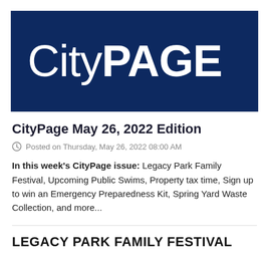[Figure (logo): CityPage logo — white bold text on dark navy blue background]
CityPage May 26, 2022 Edition
Posted on Thursday, May 26, 2022 08:00 AM
In this week's CityPage issue:  Legacy Park Family Festival, Upcoming Public Swims, Property tax time, Sign up to win an Emergency Preparedness Kit, Spring Yard Waste Collection, and more...
LEGACY PARK FAMILY FESTIVAL